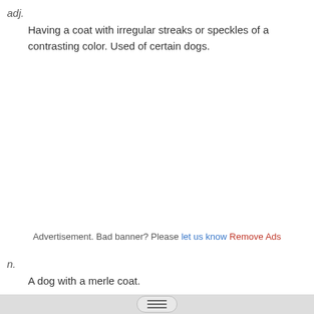adj.
Having a coat with irregular streaks or speckles of a contrasting color. Used of certain dogs.
Advertisement. Bad banner? Please let us know Remove Ads
n.
A dog with a merle coat.